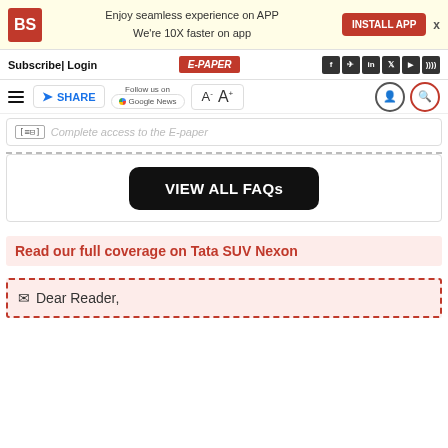BS | Enjoy seamless experience on APP We're 10X faster on app | INSTALL APP
Subscribe | Login | E-PAPER
SHARE | Follow us on Google News | A- A+
Complete access to the E-paper
VIEW ALL FAQs
Read our full coverage on Tata SUV Nexon
Dear Reader,